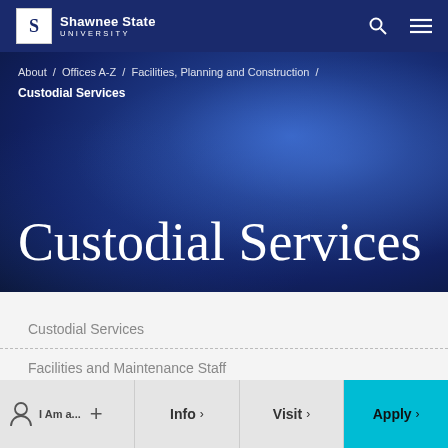Shawnee State University
About / Offices A-Z / Facilities, Planning and Construction /
Custodial Services
Custodial Services
Custodial Services
Facilities and Maintenance Staff
Forms
I Am a... | Info | Visit | Apply